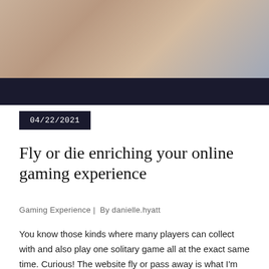[Figure (photo): A photograph showing people in light-colored clothing, partially cropped, with a dark black band across the lower portion of the image.]
04/22/2021
Fly or die enriching your online gaming experience
Gaming Experience | By danielle.hyatt
You know those kinds where many players can collect with and also play one solitary game all at the exact same time. Curious! The website fly or pass away is what I'm speaking about. Whether you have actually listened to anything concerning